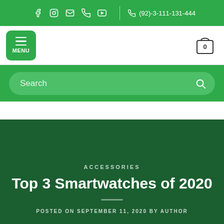(92)-3-111-131-444
[Figure (screenshot): Navigation menu bar with MENU button and cart icon showing 0]
[Figure (screenshot): Green search bar with Search placeholder text and magnifying glass icon]
ACCESSORIES
Top 3 Smartwatches of 2020
POSTED ON SEPTEMBER 11, 2020 BY AUTHOR